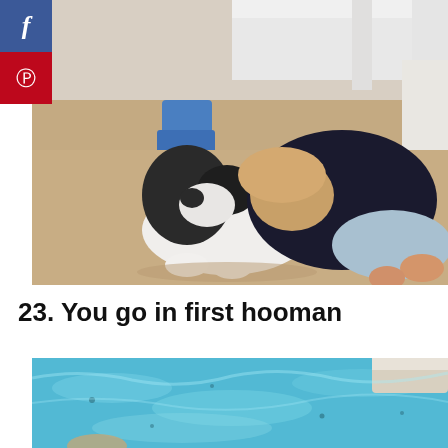[Figure (photo): A young child hugging a black and white cat on a beige carpet, with a white bed frame and blue toy visible in the background. Social share buttons (Facebook and Pinterest) overlay the left side.]
23. You go in first hooman
[Figure (photo): A bright blue outdoor swimming pool with clear water, partially cropped at the bottom of the page.]